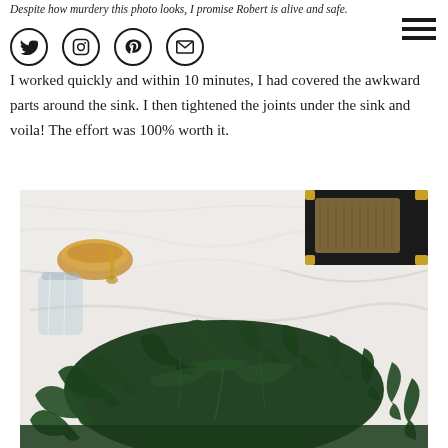Despite how murdery this photo looks, I promise Robert is alive and safe.
I worked quickly and within 10 minutes, I had covered the awkward parts around the sink. I then tightened the joints under the sink and voila! The effort was 100% worth it.
[Figure (photo): Photo of fresh green spinach/basil leaves on a white marble countertop, with a wooden bowl, glass jar, and a black retro radio in the background.]